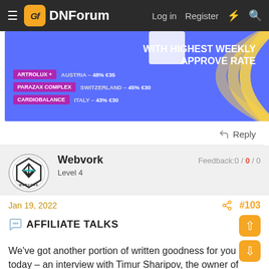DNForum — Log in  Register
[Figure (photo): Advertisement banner with blue background showing affiliate products: ARTROLUX+ (Austria 48% €35), PARAZAX COMPLEX (Switzerland 45% €30), CARDIOBALANCE (Italy 43% €30). Text reads WITH HIGHEST WEEKLY APPROVE RATE. Decorative yellow arc graphic on right side.]
Reply
Webvork
Level 4
Feedback:0 / 0 / 0
Jan 19, 2022  #103
AFFILIATE TALKS
We've got another portion of written goodness for you today – an interview with Timur Sharipov, the owner of